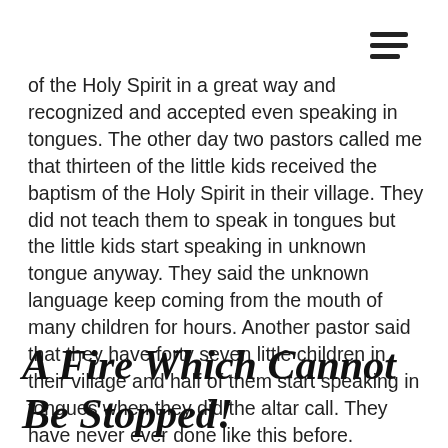≡ (hamburger menu icon)
of the Holy Spirit in a great way and recognized and accepted even speaking in tongues. The other day two pastors called me that thirteen of the little kids received the baptism of the Holy Spirit in their village. They did not teach them to speak in tongues but the little kids start speaking in unknown tongue anyway. They said the unknown language keep coming from the mouth of many children for hours. Another pastor said that they have forty seven little children in their village and half of them start speaking in tongues when they did the altar call. They have never ever done like this before.
A Fire Which Cannot Be Stopped!